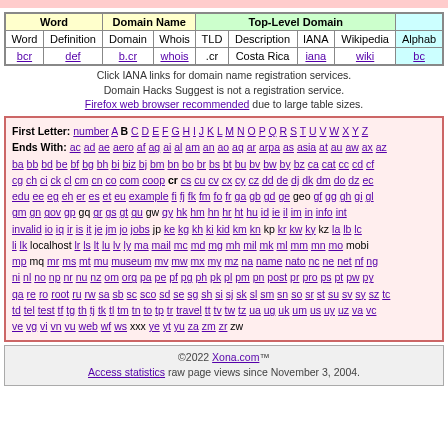| Word | Domain Name | Top-Level Domain |  |
| --- | --- | --- | --- |
| Word | Definition | Domain | Whois | TLD | Description | IANA | Wikipedia | Alphab |
| bcr | def | b.cr | whois | .cr | Costa Rica | iana | wiki | bc |
Click IANA links for domain name registration services. Domain Hacks Suggest is not a registration service. Firefox web browser recommended due to large table sizes.
First Letter: number A B C D E F G H I J K L M N O P Q R S T U V W X Y Z Ends With: ac ad ae aero af ag ai al am an ao aq ar arpa as asia at au aw ax az ba bb bd be bf bg bh bi biz bj bm bn bo br bs bt bu bv bw by bz ca cat cc cd cf cg ch ci ck cl cm cn co com coop cr cs cu cv cx cy cz dd de dj dk dm do dz ec edu ee eg eh er es et eu example fi fj fk fm fo fr ga gb gd ge geo gf gg gh gi gl gm gn gov gp gq gr gs gt gu gw gy hk hm hn hr ht hu id ie il im in info int invalid io iq ir is it je jm jo jobs jp ke kg kh ki kid km kn kp kr kw ky kz la lb lc li lk localhost lr ls lt lu lv ly ma mail mc md mg mh mil mk ml mm mn mo mobi mp mq mr ms mt mu museum mv mw mx my mz na name nato nc ne net nf ng ni nl no np nr nu nz om org pa pe pf pg ph pk pl pm pn post pr pro ps pt pw py qa re ro root ru rw sa sb sc sco sd se sg sh si sj sk sl sm sn so sr st su sv sy sz tc td tel test tf tg th tj tk tl tm tn to tp tr travel tt tv tw tz ua ug uk um us uy uz va vc ve vg vi vn vu web wf ws xxx ye yt yu za zm zr zw
©2022 Xona.com™ Access statistics raw page views since November 3, 2004.